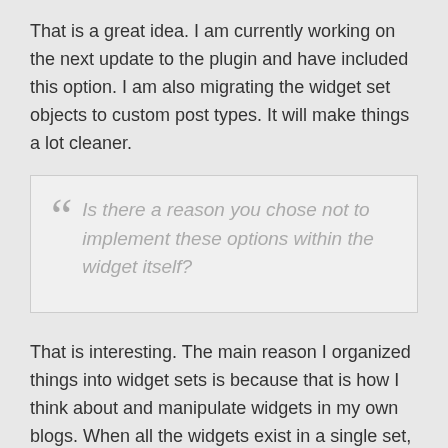That is a great idea. I am currently working on the next update to the plugin and have included this option. I am also migrating the widget set objects to custom post types. It will make things a lot cleaner.
Is there a reason you chose not to implement these options within the widget itself?
That is interesting. The main reason I organized things into widget sets is because that is how I think about and manipulate widgets in my own blogs. When all the widgets exist in a single set, and the options are set on the widgets themselves, I have a tough time remembering which widgets are relevant for what pages. Ultimately, it was easier for me to have separate sets